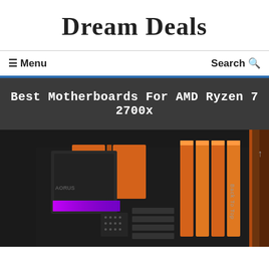Dream Deals
☰ Menu    Search 🔍
Best Motherboards For AMD Ryzen 7 2700x
[Figure (photo): Close-up photo of a gaming motherboard with orange heatsinks and RGB lighting, showing RAM slots and CPU socket area. A 'Back To Top' button is visible on the right side.]